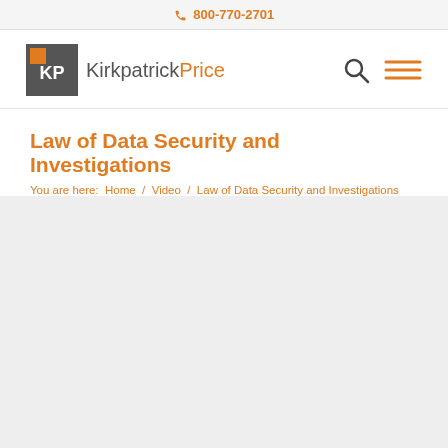📞 800-770-2701
[Figure (logo): KirkpatrickPrice logo — dark grey square with orange square accent and 'KP' letters, followed by text 'KirkpatrickPrice' in grey/orange]
Law of Data Security and Investigations
You are here:  Home  /  Video  /  Law of Data Security and Investigations
[Figure (screenshot): Video content area — large light grey rectangle indicating an embedded video player area]